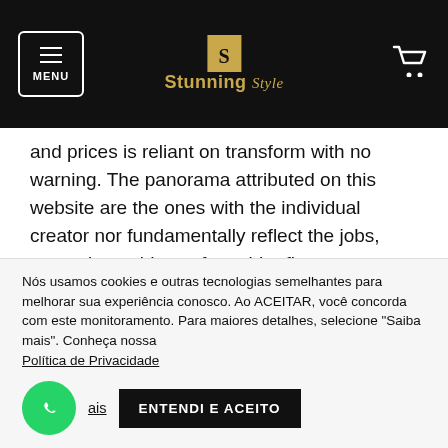MENU | Stunning Style
and prices is reliant on transform with no warning. The panorama attributed on this website are the ones with the individual creator nor fundamentally reflect the jobs, strategies or ideas of provider first-mortgage or the associates.
Here's How To Get home Assets Mortgage with A Low Credit Score – 2017 Secrets.
Nós usamos cookies e outras tecnologias semelhantes para melhorar sua experiência conosco. Ao ACEITAR, você concorda com este monitoramento. Para maiores detalhes, selecione "Saiba mais". Conheça nossa Política de Privacidade
Saiba mais | ENTENDI E ACEITO